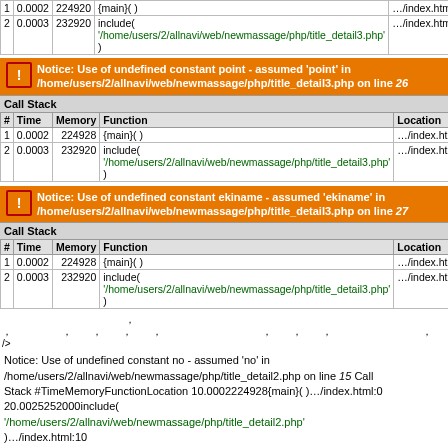| # | Time | Memory | Function | Location |
| --- | --- | --- | --- | --- |
| 1 | 0.0002 | 224920 | {main}( ) | …/index.html:0 |
| 2 | 0.0003 | 232920 | include( '/home/users/2/allnavi/web/newmassage/php/title_detail3.php' ) | …/index.html:9 |
Notice: Use of undefined constant point - assumed 'point' in /home/users/2/allnavi/web/newmassage/php/title_detail3.php on line 26
| # | Time | Memory | Function | Location |
| --- | --- | --- | --- | --- |
| 1 | 0.0002 | 224928 | {main}( ) | …/index.html:0 |
| 2 | 0.0003 | 232920 | include( '/home/users/2/allnavi/web/newmassage/php/title_detail3.php' ) | …/index.html:9 |
Notice: Use of undefined constant ekiname - assumed 'ekiname' in /home/users/2/allnavi/web/newmassage/php/title_detail3.php on line 27
| # | Time | Memory | Function | Location |
| --- | --- | --- | --- | --- |
| 1 | 0.0002 | 224928 | {main}( ) | …/index.html:0 |
| 2 | 0.0003 | 232920 | include( '/home/users/2/allnavi/web/newmassage/php/title_detail3.php' ) | …/index.html:9 |
Notice: Use of undefined constant no - assumed 'no' in /home/users/2/allnavi/web/newmassage/php/title_detail2.php on line 15 Call Stack #TimeMemoryFunctionLocation 10.0002224928{main}( )…/index.html:0 20.0025252000include( '/home/users/2/allnavi/web/newmassage/php/title_detail2.php' )…/index.html:10
Notice: Use of undefined constant shopname - assumed 'shopname' in